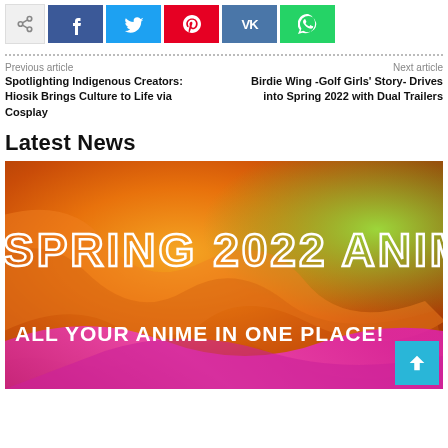[Figure (other): Share bar with share icon and social media buttons: Facebook (blue), Twitter (cyan), Pinterest (red), VK (dark blue), WhatsApp (green)]
Previous article
Next article
Spotlighting Indigenous Creators: Hiosik Brings Culture to Life via Cosplay
Birdie Wing -Golf Girls' Story- Drives into Spring 2022 with Dual Trailers
Latest News
[Figure (photo): Spring 2022 Anime promotional image with colorful swirling background in orange, yellow, green, and pink. Text overlay reads 'SPRING 2022 ANIME' in outlined white letters and 'ALL YOUR ANIME IN ONE PLACE!' in solid white bold letters.]